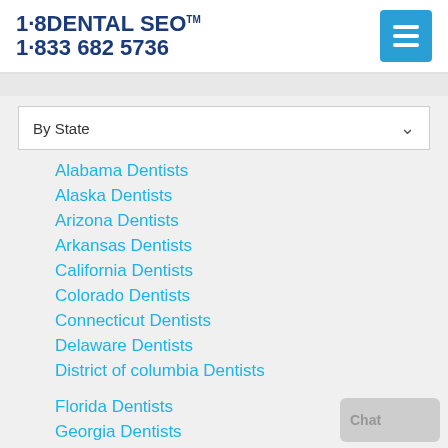1·8DENTAL SEO™ 1·833 682 5736
By State
Alabama Dentists
Alaska Dentists
Arizona Dentists
Arkansas Dentists
California Dentists
Colorado Dentists
Connecticut Dentists
Delaware Dentists
District of columbia Dentists
Florida Dentists
Georgia Dentists
Hawaii Dentists